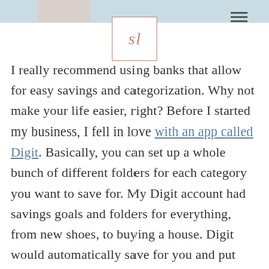[Figure (logo): Script initials 'sl' inside a square border, rose gold color]
I really recommend using banks that allow for easy savings and categorization. Why not make your life easier, right? Before I started my business, I fell in love with an app called Digit. Basically, you can set up a whole bunch of different folders for each category you want to save for. My Digit account had savings goals and folders for everything, from new shoes, to buying a house. Digit would automatically save for you and put